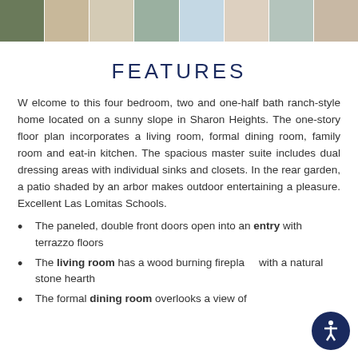[Figure (photo): Strip of 8 property interior/exterior thumbnail photos across the top of the page]
FEATURES
Welcome to this four bedroom, two and one-half bath ranch-style home located on a sunny slope in Sharon Heights. The one-story floor plan incorporates a living room, formal dining room, family room and eat-in kitchen. The spacious master suite includes dual dressing areas with individual sinks and closets. In the rear garden, a patio shaded by an arbor makes outdoor entertaining a pleasure. Excellent Las Lomitas Schools.
The paneled, double front doors open into an entry with terrazzo floors
The living room has a wood burning fireplace with a natural stone hearth
The formal dining room overlooks a view of